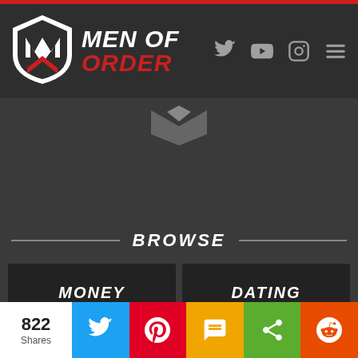[Figure (logo): Men of Order logo with shield icon and brand name in white/red italic text]
[Figure (logo): Men of Order ghost/watermark shield logo in gray]
BROWSE
MONEY
DATING
MINDSET
SPORTS
TECH
CULTURE
822 Shares